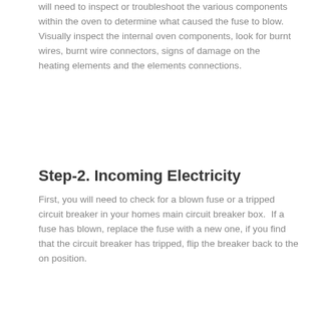will need to inspect or troubleshoot the various components within the oven to determine what caused the fuse to blow.  Visually inspect the internal oven components, look for burnt wires, burnt wire connectors, signs of damage on the heating elements and the elements connections.
Step-2. Incoming Electricity
First, you will need to check for a blown fuse or a tripped circuit breaker in your homes main circuit breaker box.  If a fuse has blown, replace the fuse with a new one, if you find that the circuit breaker has tripped, flip the breaker back to the on position.